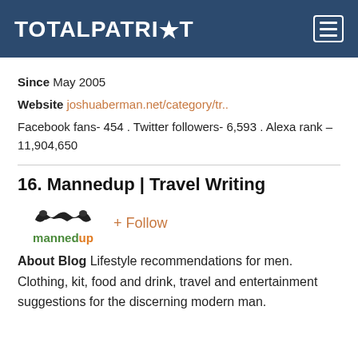TOTALPATRIOT
Since May 2005
Website joshuaberman.net/category/tr..
Facebook fans- 454 . Twitter followers- 6,593 . Alexa rank – 11,904,650
16. Mannedup | Travel Writing
[Figure (logo): Mannedup blog logo with mustache graphic above the word mannedup in green/orange, plus a + Follow button in orange]
About Blog Lifestyle recommendations for men. Clothing, kit, food and drink, travel and entertainment suggestions for the discerning modern man.